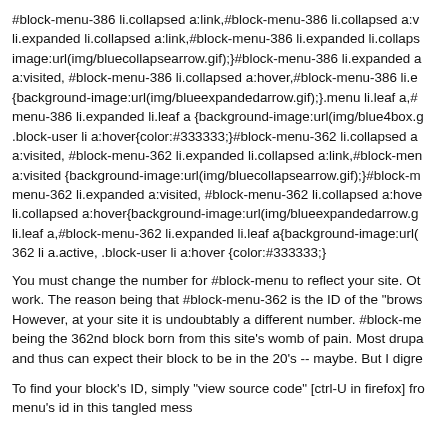#block-menu-386 li.collapsed a:link,#block-menu-386 li.collapsed a:v li.expanded li.collapsed a:link,#block-menu-386 li.expanded li.collaps image:url(img/bluecollapsearrow.gif);}#block-menu-386 li.expanded a a:visited, #block-menu-386 li.collapsed a:hover,#block-menu-386 li.e {background-image:url(img/blueexpandedarrow.gif);}.menu li.leaf a,# menu-386 li.expanded li.leaf a {background-image:url(img/blue4box.g .block-user li a:hover{color:#333333;}#block-menu-362 li.collapsed a a:visited, #block-menu-362 li.expanded li.collapsed a:link,#block-men a:visited {background-image:url(img/bluecollapsearrow.gif);}#block-m menu-362 li.expanded a:visited, #block-menu-362 li.collapsed a:hove li.collapsed a:hover{background-image:url(img/blueexpandedarrow.g li.leaf a,#block-menu-362 li.expanded li.leaf a{background-image:url( 362 li a.active, .block-user li a:hover {color:#333333;}
You must change the number for #block-menu to reflect your site. Ot work. The reason being that #block-menu-362 is the ID of the "brows However, at your site it is undoubtably a different number. #block-me being the 362nd block born from this site's womb of pain. Most drupa and thus can expect their block to be in the 20's -- maybe. But I digre
To find your block's ID, simply "view source code" [ctrl-U in firefox] fro menu's id in this tangled mess